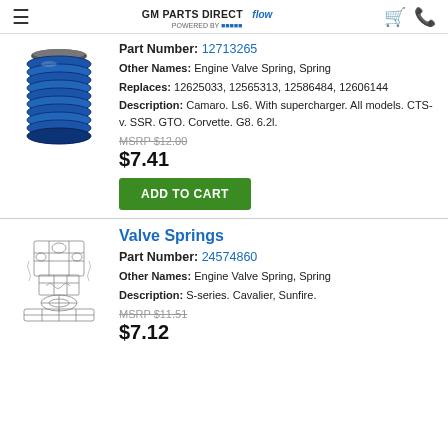GM PARTS DIRECT | FLOW | Powered by [logo]
[Figure (photo): Blue coil valve spring product photo]
Part Number: 12713265
Other Names: Engine Valve Spring, Spring
Replaces: 12625033, 12565313, 12586484, 12606144
Description: Camaro. Ls6. With supercharger. All models. CTS-v. SSR. GTO. Corvette. G8. 6.2l.
MSRP $12.00
$7.41
ADD TO CART
Valve Springs
[Figure (illustration): Line drawing / schematic illustration of engine parts with valve springs]
Part Number: 24574860
Other Names: Engine Valve Spring, Spring
Description: S-series. Cavalier, Sunfire.
MSRP $11.51
$7.12